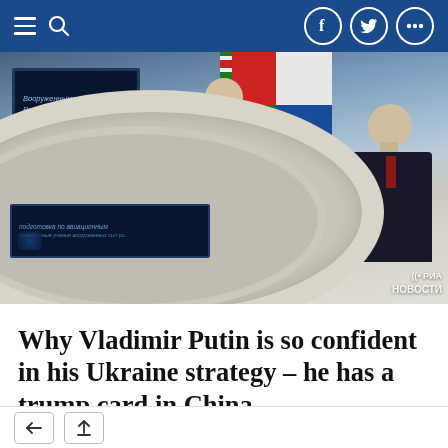Navigation bar with hamburger menu, search icon, Facebook, Twitter, and more icons
[Figure (photo): Two men seated at a large round white conference table. A TV screen in the background displays Russian text 'Вооруженные Силами Российской Федерации'. Belarusian and Russian flags are visible. A lower screen shows additional Russian text. RIA Novosti watermark in bottom right corner.]
Why Vladimir Putin is so confident in his Ukraine strategy – he has a trump card in China
Back and share toolbar icons